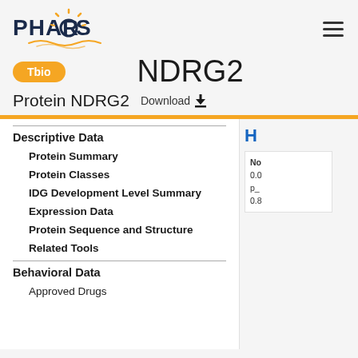PHAROS
NDRG2
Protein NDRG2  Download ⬇
Descriptive Data
Protein Summary
Protein Classes
IDG Development Level Summary
Expression Data
Protein Sequence and Structure
Related Tools
Behavioral Data
Approved Drugs
No
0.0
p_
0.8